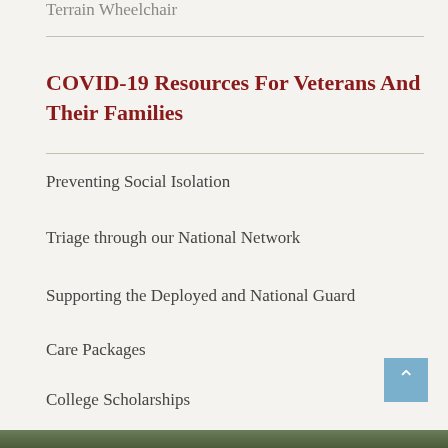Terrain Wheelchair
COVID-19 Resources For Veterans And Their Families
Preventing Social Isolation
Triage through our National Network
Supporting the Deployed and National Guard
Care Packages
College Scholarships